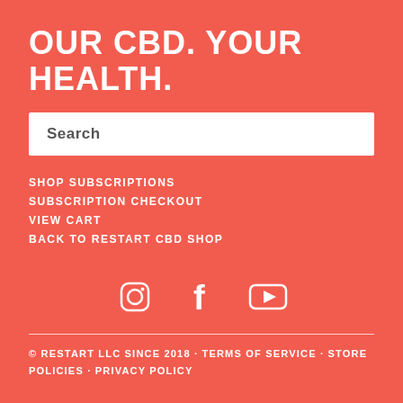OUR CBD. YOUR HEALTH.
[Figure (other): Search input box with placeholder text 'Search']
SHOP SUBSCRIPTIONS
SUBSCRIPTION CHECKOUT
VIEW CART
BACK TO RESTART CBD SHOP
[Figure (other): Social media icons: Instagram, Facebook, YouTube]
© RESTART LLC SINCE 2018 · TERMS OF SERVICE · STORE POLICIES · PRIVACY POLICY